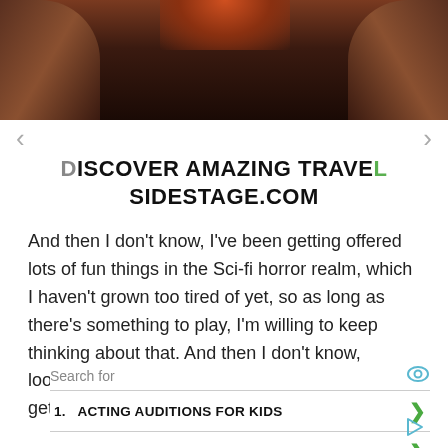[Figure (photo): Photo of rocky canyon walls with warm orange/red light from above, partially cut off at top]
DISCOVER AMAZING TRAVEL SIDESTAGE.COM
And then I don't know, I've been getting offered lots of fun things in the Sci-fi horror realm, which I haven't grown too tired of yet, so as long as there's something to play, I'm willing to keep thinking about that. And then I don't know, looking for the next thing and the next thing to get excited about.
Search for
1. ACTING AUDITIONS FOR KIDS
2. DRAMATIC FEMALE MONOLOGUES